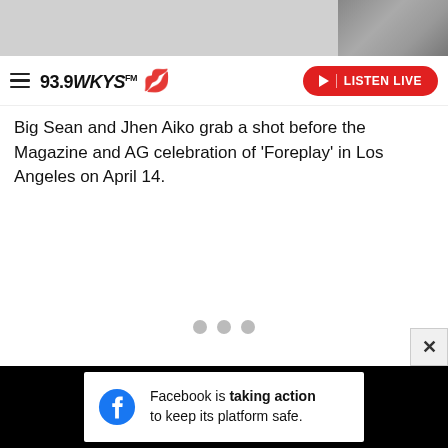93.9 WKYS
[Figure (screenshot): 93.9 WKYS radio station website header/navigation bar with hamburger menu, logo with red lips icon, and red LISTEN LIVE button]
Big Sean and Jhen Aiko grab a shot before the Magazine and AG celebration of 'Foreplay' in Los Angeles on April 14.
[Figure (other): Three gray loading dots indicating content loading]
[Figure (other): Advertisement banner: Facebook logo with text 'Facebook is taking action to keep its platform safe.']